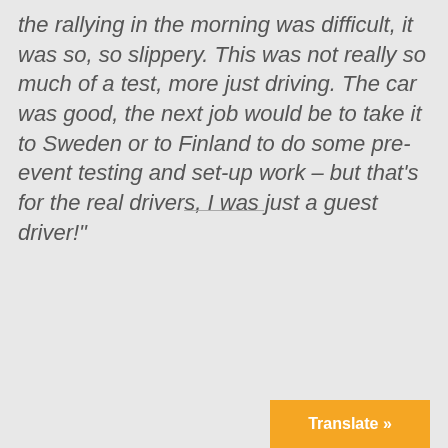the rallying in the morning was difficult, it was so, so slippery. This was not really so much of a test, more just driving. The car was good, the next job would be to take it to Sweden or to Finland to do some pre-event testing and set-up work – but that's for the real drivers, I was just a guest driver!"